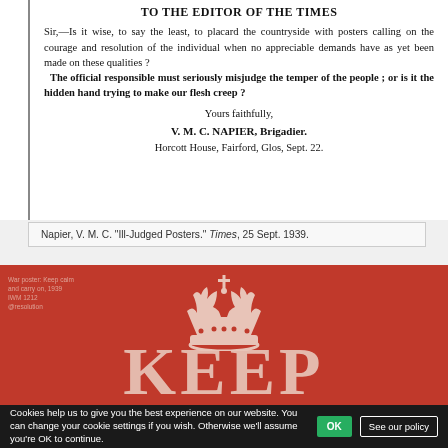TO THE EDITOR OF THE TIMES
Sir,—Is it wise, to say the least, to placard the countryside with posters calling on the courage and resolution of the individual when no appreciable demands have as yet been made on these qualities?
The official responsible must seriously misjudge the temper of the people; or is it the hidden hand trying to make our flesh creep?
Yours faithfully,
V. M. C. NAPIER, Brigadier.
Horcott House, Fairford, Glos, Sept. 22.
Napier, V. M. C. "Ill-Judged Posters." Times, 25 Sept. 1939.
[Figure (photo): Red 'Keep Calm and Carry On' WWII poster showing a white crown emblem at the top and the word KEEP in large white letters at the bottom, on a red background.]
Cookies help us to give you the best experience on our website. You can change your cookie settings if you wish. Otherwise we'll assume you're OK to continue.